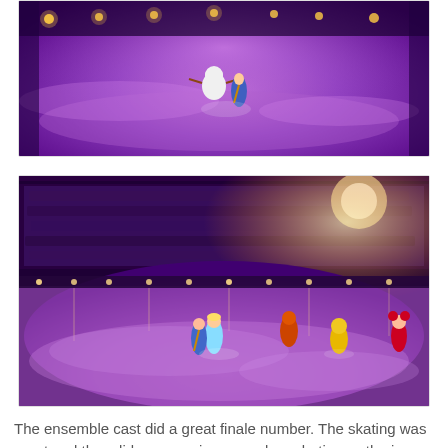[Figure (photo): Ice skating show with purple-lit ice rink. Two characters (one in white, one in blue dress) are performing in the center of the rink with stage lights visible along the back.]
[Figure (photo): Wide arena view of Disney on Ice ensemble finale. Multiple costumed characters skating on a purple-lit ice rink with a packed audience visible in the background and stage lighting overhead.]
The ensemble cast did a great finale number. The skating was great and they did so many jumps and acrobatics on the ice.